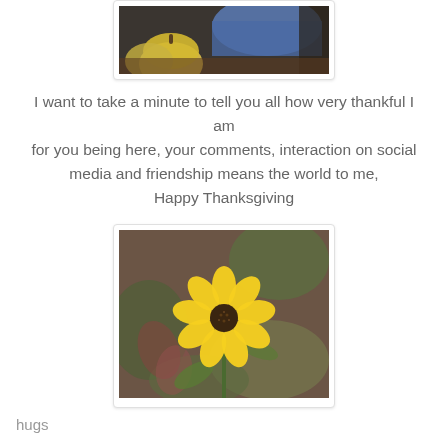[Figure (photo): Top portion of a photo showing pumpkins and a person wearing a blue hat, cropped at the bottom]
I want to take a minute to tell you all how very thankful I am for you being here, your comments, interaction on social media and friendship means the world to me, Happy Thanksgiving
[Figure (photo): A bright yellow flower with multiple petals and a dark center, photographed against a blurred green and brown background]
hugs